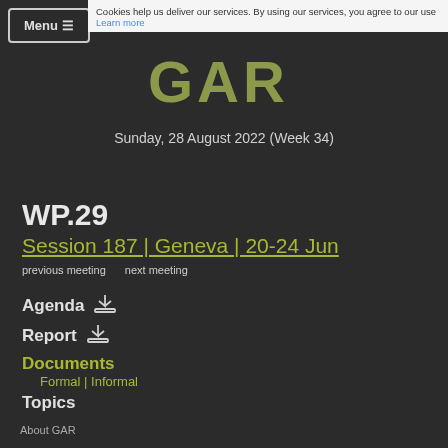Cookies help us deliver our services. By using our services, you agree to our use. Learn more
[Figure (logo): GAR logo in olive/yellow-green color on dark background]
Sunday, 28 August 2022 (Week 34)
WP.29
Session 187 | Geneva | 20-24 Jun
previous meeting
next meeting
Agenda (download)
Report (download)
Documents
Formal | Informal
Topics
About GAR